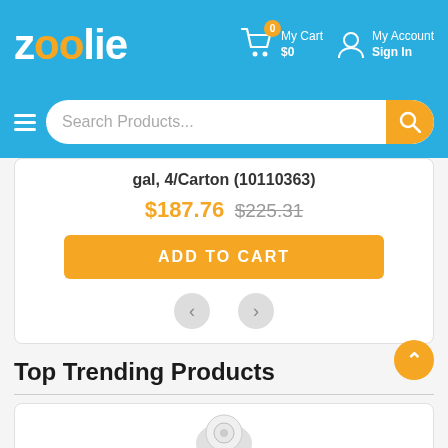[Figure (screenshot): Zoolie e-commerce website header with orange and white logo on blue background, cart icon showing 0 items and $0, My Account / Sign In link]
[Figure (screenshot): Search bar with hamburger menu icon and search input placeholder 'Search Products...' and orange search button]
gal, 4/Carton (10110363)
$187.76 $225.31
ADD TO CART
Top Trending Products
[Figure (photo): Partially visible product image at bottom of page in trending products section]